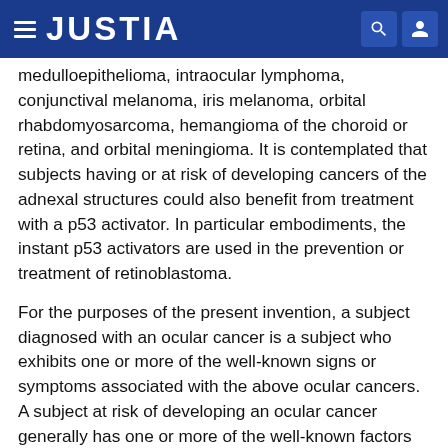JUSTIA
medulloepithelioma, intraocular lymphoma, conjunctival melanoma, iris melanoma, orbital rhabdomyosarcoma, hemangioma of the choroid or retina, and orbital meningioma. It is contemplated that subjects having or at risk of developing cancers of the adnexal structures could also benefit from treatment with a p53 activator. In particular embodiments, the instant p53 activators are used in the prevention or treatment of retinoblastoma.
For the purposes of the present invention, a subject diagnosed with an ocular cancer is a subject who exhibits one or more of the well-known signs or symptoms associated with the above ocular cancers. A subject at risk of developing an ocular cancer generally has one or more of the well-known factors which raise the subject's risk of developing ocular cancer. Such risk factors include age, wherein most cases of primary